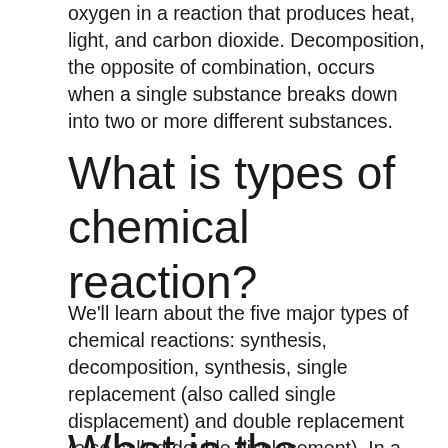oxygen in a reaction that produces heat, light, and carbon dioxide. Decomposition, the opposite of combination, occurs when a single substance breaks down into two or more different substances.
What is types of chemical reaction?
We'll learn about the five major types of chemical reactions: synthesis, decomposition, synthesis, single replacement (also called single displacement) and double replacement (also called double displacement). In a decomposition reaction, a compound breaks down into simpler elements or compounds.
What is the...